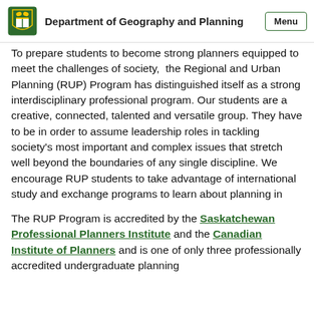Department of Geography and Planning
To prepare students to become strong planners equipped to meet the challenges of society, the Regional and Urban Planning (RUP) Program has distinguished itself as a strong interdisciplinary professional program. Our students are a creative, connected, talented and versatile group. They have to be in order to assume leadership roles in tackling society's most important and complex issues that stretch well beyond the boundaries of any single discipline. We encourage RUP students to take advantage of international study and exchange programs to learn about planning in other places.
The RUP Program is accredited by the Saskatchewan Professional Planners Institute and the Canadian Institute of Planners and is one of only three professionally accredited undergraduate planning